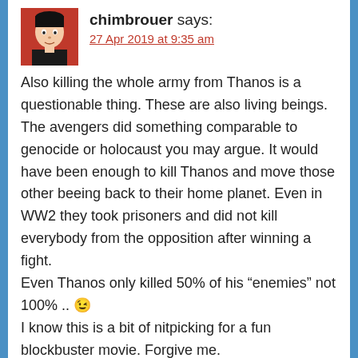[Figure (illustration): Avatar image of user chimbrouer — a comic-style illustration of a person in red and black colors]
chimbrouer says:
27 Apr 2019 at 9:35 am
Also killing the whole army from Thanos is a questionable thing. These are also living beings. The avengers did something comparable to genocide or holocaust you may argue. It would have been enough to kill Thanos and move those other beeing back to their home planet. Even in WW2 they took prisoners and did not kill everybody from the opposition after winning a fight.
Even Thanos only killed 50% of his “enemies” not 100% .. 😉
I know this is a bit of nitpicking for a fun blockbuster movie. Forgive me.